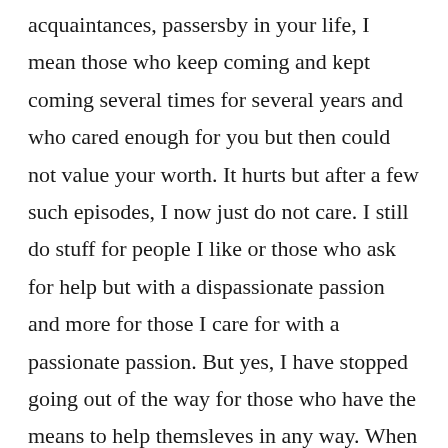acquaintances, passersby in your life, I mean those who keep coming and kept coming several times for several years and who cared enough for you but then could not value your worth. It hurts but after a few such episodes, I now just do not care. I still do stuff for people I like or those who ask for help but with a dispassionate passion and more for those I care for with a passionate passion. But yes, I have stopped going out of the way for those who have the means to help themsleves in any way. When one's virtuousness and decency is construed as a weakness, I classify the person interpreting it thus as uncivil.